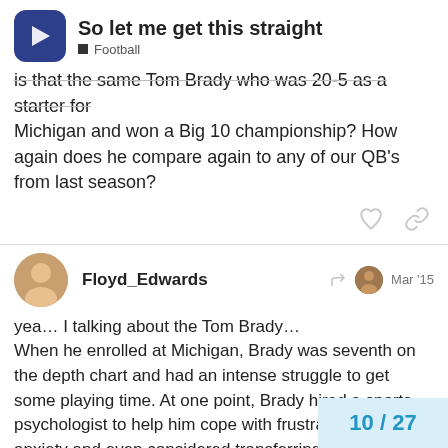So let me get this straight — Football
is that the same Tom Brady who was 20-5 as a starter for Michigan and won a Big 10 championship? How again does he compare again to any of our QB's from last season?
Floyd_Edwards — Mar '15
yea… I talking about the Tom Brady… When he enrolled at Michigan, Brady was seventh on the depth chart and had an intense struggle to get some playing time. At one point, Brady hired a sports psychologist to help him cope with frustration and anxiety and even considered transferring to California.

He worked closely with assistant athletic director Greg Harden, who met with Brady every week to build hi... maximize his performance on the field.
10 / 27